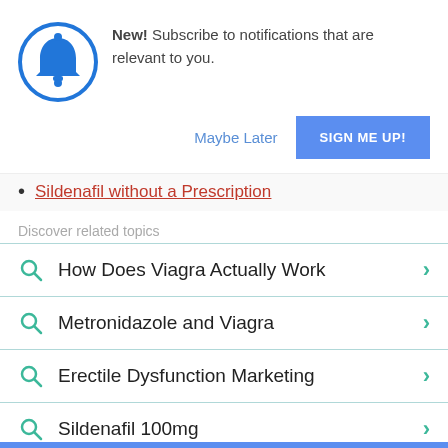[Figure (infographic): Blue bell notification icon inside a blue circle]
New! Subscribe to notifications that are relevant to you.
Maybe Later
SIGN ME UP!
Sildenafil without a Prescription
Discover related topics
How Does Viagra Actually Work
Metronidazole and Viagra
Erectile Dysfunction Marketing
Sildenafil 100mg